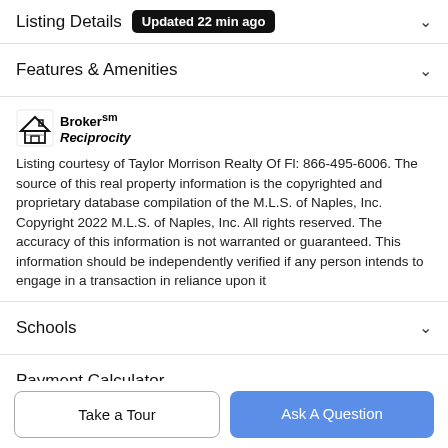Listing Details  Updated 22 min ago
Features & Amenities
[Figure (logo): Broker Reciprocity logo with house icon]
Listing courtesy of Taylor Morrison Realty Of Fl: 866-495-6006. The source of this real property information is the copyrighted and proprietary database compilation of the M.L.S. of Naples, Inc. Copyright 2022 M.L.S. of Naples, Inc. All rights reserved. The accuracy of this information is not warranted or guaranteed. This information should be independently verified if any person intends to engage in a transaction in reliance upon it
Schools
Payment Calculator
Take a Tour
Ask A Question